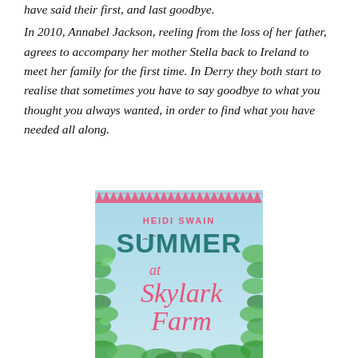have said their first, and last goodbye. In 2010, Annabel Jackson, reeling from the loss of her father, agrees to accompany her mother Stella back to Ireland to meet her family for the first time. In Derry they both start to realise that sometimes you have to say goodbye to what you thought you always wanted, in order to find what you have needed all along.
[Figure (illustration): Book cover for 'Summer at Skylark Farm' by Heidi Swain. Light blue sky background with pink bunting triangles at the top, green leaves and foliage around the edges. Author name 'HEIDI SWAIN' in pink caps, 'SUMMER' in large teal bold letters, 'at Skylark Farm' in decorative pink script.]